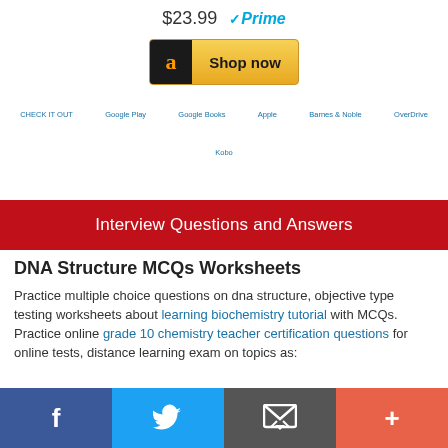$23.99  ✓Prime
[Figure (screenshot): Amazon Shop now button with black Amazon logo icon and golden gradient background]
CHECK IT OUT   Google Play   Google Books   Apple   Barnes & Noble   OverDrive   Kobo
Interview Questions and Answers
DNA Structure MCQs Worksheets
Practice multiple choice questions on dna structure, objective type testing worksheets about learning biochemistry tutorial with MCQs. Practice online grade 10 chemistry teacher certification questions for online tests, distance learning exam on topics as: